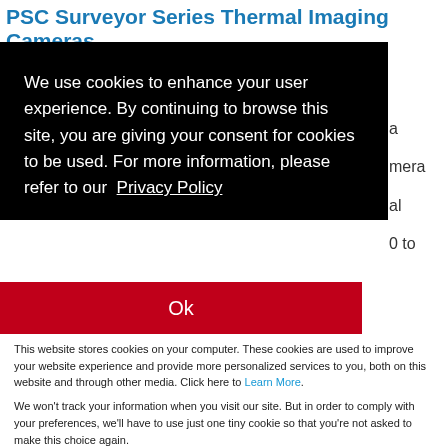PSC Surveyor Series Thermal Imaging Cameras
We use cookies to enhance your user experience. By continuing to browse this site, you are giving your consent for cookies to be used. For more information, please refer to our Privacy Policy
Ok
This website stores cookies on your computer. These cookies are used to improve your website experience and provide more personalized services to you, both on this website and through other media. Click here to Learn More.
We won't track your information when you visit our site. But in order to comply with your preferences, we'll have to use just one tiny cookie so that you're not asked to make this choice again.
Accept
Decline